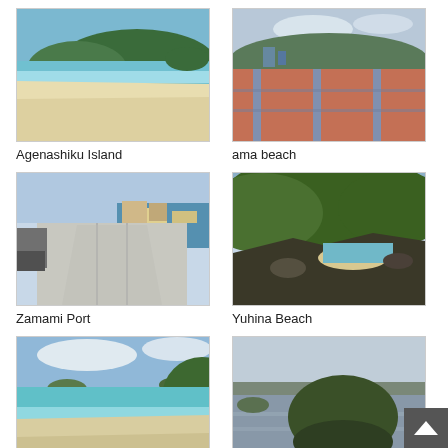[Figure (photo): Agenashiku Island - tropical beach with white sand, turquoise water, and green hills in background]
Agenashiku Island
[Figure (photo): Ama beach - outdoor area with reddish paving, blue/gray lanes, and green hills in background]
ama beach
[Figure (photo): Zamami Port - long concrete pier with boats moored, cars parked on left, buildings visible]
Zamami Port
[Figure (photo): Yuhina Beach - rocky coastline with lush green vegetation, small sandy beach and turquoise water visible]
Yuhina Beach
[Figure (photo): Huruzamami Beach - sandy beach with turquoise water, green hills and small islands in background, blue sky with clouds]
Huruzamami Beach
[Figure (photo): Takatukiyama - view of rocky forested hill rising from calm water, overcast sky]
Takatukiyama